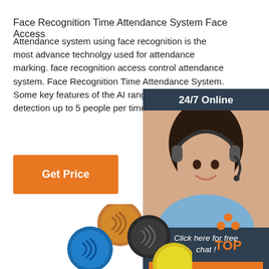Face Recognition Time Attendance System Face Access
Attendance system using face recognition is the most advance technolgy used for attendance marking. face recognition access control attendance system. Face Recognition Time Attendance System. Some key features of the AI range of produ face detection up to 5 people per time...
[Figure (infographic): 24/7 Online chat widget with a customer service representative wearing a headset, dark background with 'Click here for free chat!' text and an orange QUOTATION button]
Get Price
[Figure (photo): Colorful NFC coin tags in orange, black, blue, and yellow colors with NFC logos]
[Figure (logo): TOP logo with orange dots arranged in a triangle above the word TOP in orange]